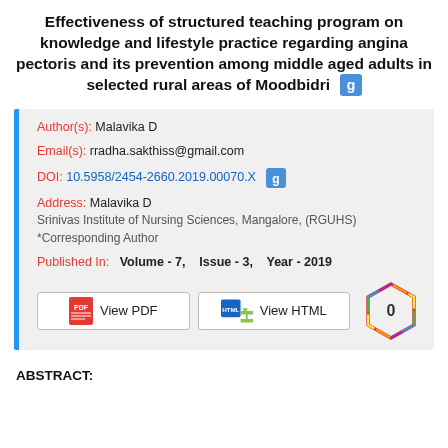Effectiveness of structured teaching program on knowledge and lifestyle practice regarding angina pectoris and its prevention among middle aged adults in selected rural areas of Moodbidri
Author(s): Malavika D
Email(s): rradha.sakthiss@gmail.com
DOI: 10.5958/2454-2660.2019.00070.X
Address: Malavika D
Srinivas Institute of Nursing Sciences, Mangalore, (RGUHS)
*Corresponding Author
Published In: Volume - 7,  Issue - 3,  Year - 2019
ABSTRACT: